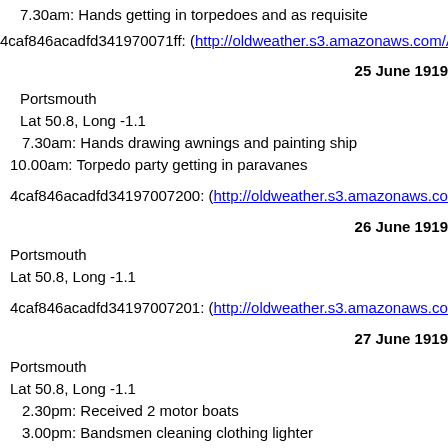7.30am: Hands getting in torpedoes and as requisite
4caf846acadfd341970071ff: (http://oldweather.s3.amazonaws.com/AD...)
25 June 1919
Portsmouth
Lat 50.8, Long -1.1
7.30am: Hands drawing awnings and painting ship
10.00am: Torpedo party getting in paravanes
4caf846acadfd34197007200: (http://oldweather.s3.amazonaws.com/A...)
26 June 1919
Portsmouth
Lat 50.8, Long -1.1
4caf846acadfd34197007201: (http://oldweather.s3.amazonaws.com/A...)
27 June 1919
Portsmouth
Lat 50.8, Long -1.1
2.30pm: Received 2 motor boats
3.00pm: Bandsmen cleaning clothing lighter
4caf846acadfd34197007202: (http://oldweather.s3.amazonaws.com/A...)
28 June 1919
Portsmouth
Lat 50.8, Long -1.1
6.00pm: Dressed ship with masthead flags